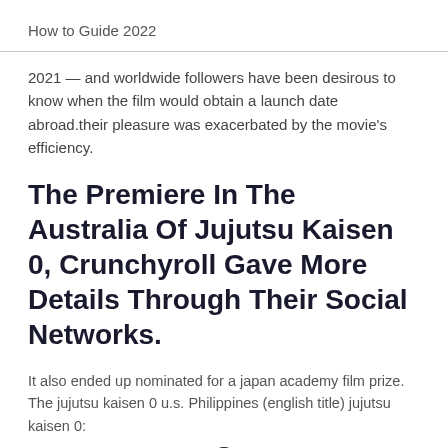How to Guide 2022
2021 — and worldwide followers have been desirous to know when the film would obtain a launch date abroad.their pleasure was exacerbated by the movie's efficiency.
The Premiere In The Australia Of Jujutsu Kaisen 0, Crunchyroll Gave More Details Through Their Social Networks.
It also ended up nominated for a japan academy film prize. The jujutsu kaisen 0 u.s. Philippines (english title) jujutsu kaisen 0: